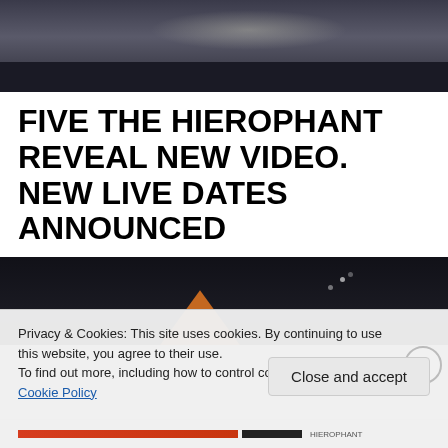[Figure (photo): Dark atmospheric photo with silhouette against a dim cloudy sky, top portion of page]
FIVE THE HIEROPHANT REVEAL NEW VIDEO. NEW LIVE DATES ANNOUNCED
[Figure (photo): Dark night sky photo with faint stars and dark shape with orange element at bottom]
Privacy & Cookies: This site uses cookies. By continuing to use this website, you agree to their use.
To find out more, including how to control cookies, see here: Cookie Policy
Close and accept